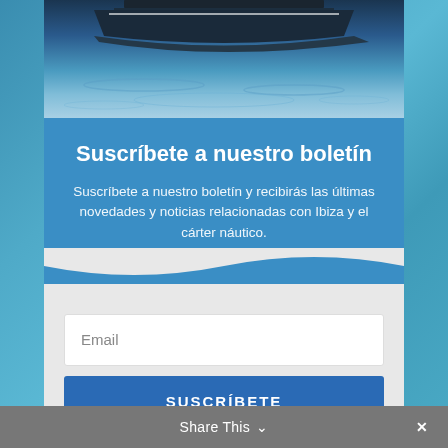[Figure (photo): Boat hull photographed from dock level with blue water below and dark hull visible at top]
Suscríbete a nuestro boletín
Suscríbete a nuestro boletín y recibirás las últimas novedades y noticias relacionadas con Ibiza y el cárter náutico.
Email
SUSCRÍBETE
Share This ∨  ✕